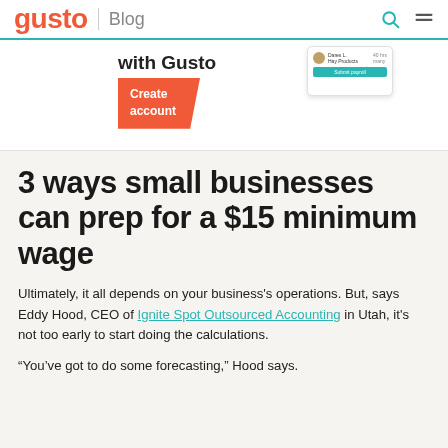gusto | Blog
[Figure (screenshot): Gusto payroll banner with 'with Gusto' text, a coral 'Create account' button, and a payroll widget UI]
3 ways small businesses can prep for a $15 minimum wage
Ultimately, it all depends on your business's operations. But, says Eddy Hood, CEO of Ignite Spot Outsourced Accounting in Utah, it's not too early to start doing the calculations.
“You’ve got to do some forecasting,” Hood says.